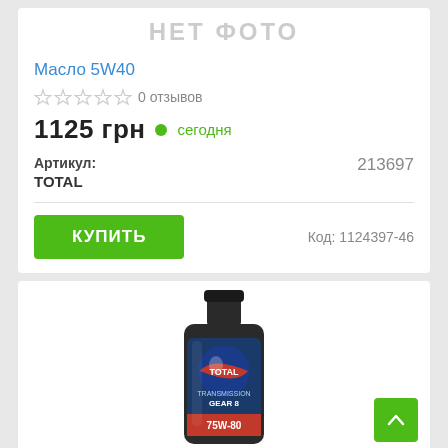[Figure (other): No photo placeholder text 'НЕТ ФОТО' in gray on white background]
Масло 5W40
☆☆☆☆☆ 0 отзывов
1125 грн ● сегодня
Артикул:    213697
TOTAL
КУПИТЬ    Код: 1124397-46
[Figure (photo): Photo of a TOTAL Transmission Gear 8 75W-80 1L oil bottle]